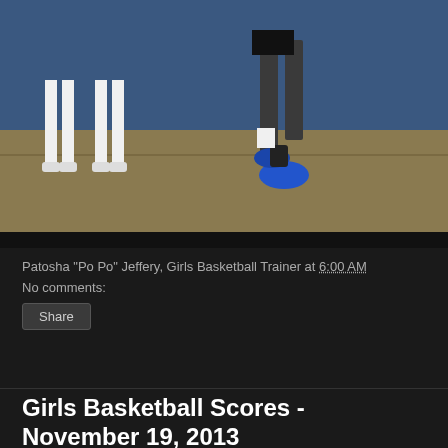[Figure (photo): Basketball game photo showing players' legs and feet on a court with cheerleaders in the background]
Patosha "Po Po" Jeffery, Girls Basketball Trainer at 6:00 AM
No comments:
Share
Girls Basketball Scores - November 19, 2013
From Commercial Appeal Box Scores
Brighton (28) — Bailee Beard 2, Danielle Collins 3, Kaelyn Forbes 4, Alyssa Hunt 5, Shayna Johnson 12, Jada Johnson 2